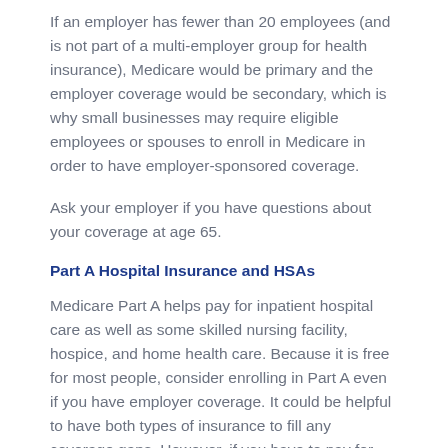If an employer has fewer than 20 employees (and is not part of a multi-employer group for health insurance), Medicare would be primary and the employer coverage would be secondary, which is why small businesses may require eligible employees or spouses to enroll in Medicare in order to have employer-sponsored coverage.
Ask your employer if you have questions about your coverage at age 65.
Part A Hospital Insurance and HSAs
Medicare Part A helps pay for inpatient hospital care as well as some skilled nursing facility, hospice, and home health care. Because it is free for most people, consider enrolling in Part A even if you have employer coverage. It could be helpful to have both types of insurance to fill any coverage gaps. However, if you have to pay for Part A, you may want